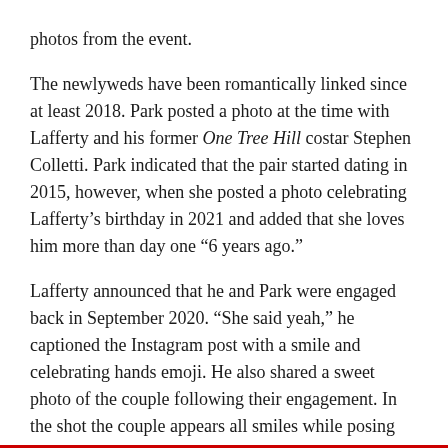photos from the event.
The newlyweds have been romantically linked since at least 2018. Park posted a photo at the time with Lafferty and his former One Tree Hill costar Stephen Colletti. Park indicated that the pair started dating in 2015, however, when she posted a photo celebrating Lafferty’s birthday in 2021 and added that she loves him more than day one “6 years ago.”
Lafferty announced that he and Park were engaged back in September 2020. “She said yeah,” he captioned the Instagram post with a smile and celebrating hands emoji. He also shared a sweet photo of the couple following their engagement. In the shot the couple appears all smiles while posing casually in a kitchen.
Congratulations to the newlyweds for tying the knot!